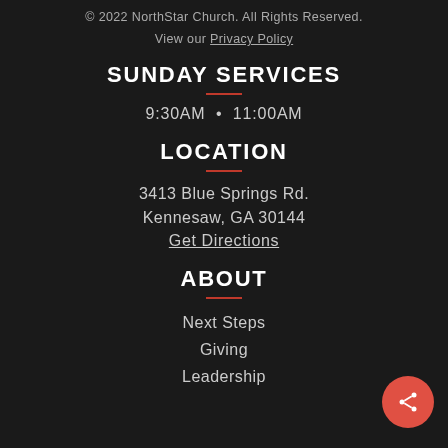© 2022 NorthStar Church. All Rights Reserved.
View our Privacy Policy
SUNDAY SERVICES
9:30AM  •  11:00AM
LOCATION
3413 Blue Springs Rd.
Kennesaw, GA 30144
Get Directions
ABOUT
Next Steps
Giving
Leadership
[Figure (other): Orange circular share button with share icon in bottom-right corner]